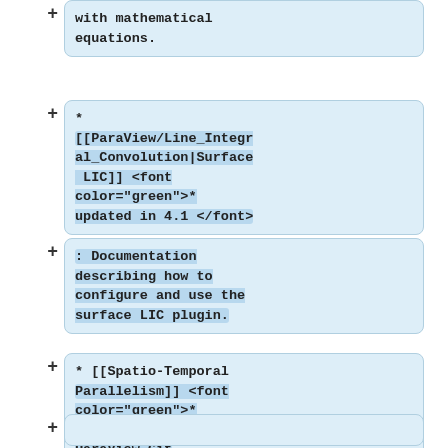with mathematical equations.
* [[ParaView/Line_Integral_Convolution|Surface LIC]] <font color="green">* updated in 4.1 </font>
: Documentation describing how to configure and use the surface LIC plugin.
* [[Spatio-Temporal Parallelism]] <font color="green">* available in the ParaView Git repository</font>